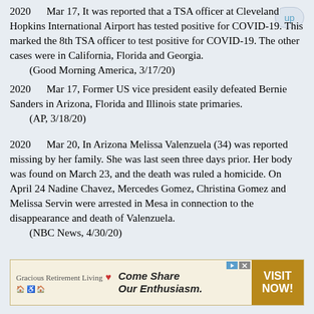2020   Mar 17, It was reported that a TSA officer at Cleveland Hopkins International Airport has tested positive for COVID-19. This marked the 8th TSA officer to test positive for COVID-19. The other cases were in California, Florida and Georgia.
    (Good Morning America, 3/17/20)
2020   Mar 17, Former US vice president easily defeated Bernie Sanders in Arizona, Florida and Illinois state primaries.
    (AP, 3/18/20)
2020   Mar 20, In Arizona Melissa Valenzuela (34) was reported missing by her family. She was last seen three days prior. Her body was found on March 23, and the death was ruled a homicide. On April 24 Nadine Chavez, Mercedes Gomez, Christina Gomez and Melissa Servin were arrested in Mesa in connection to the disappearance and death of Valenzuela.
    (NBC News, 4/30/20)
[Figure (infographic): Advertisement for Gracious Retirement Living with slogan 'Come Share Our Enthusiasm.' and a 'VISIT NOW!' call-to-action button in brown/gold.]